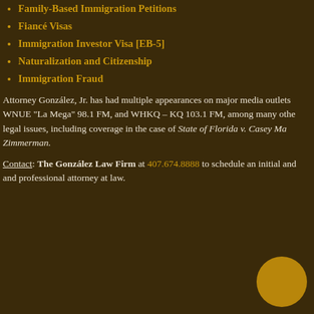Family-Based Immigration Petitions
Fiancé Visas
Immigration Investor Visa [EB-5]
Naturalization and Citizenship
Immigration Fraud
Attorney González, Jr. has had multiple appearances on major media outlets WNUE "La Mega" 98.1 FM, and WHKQ – KQ 103.1 FM, among many other legal issues, including coverage in the case of State of Florida v. Casey Ma... Zimmerman.
Contact: The González Law Firm at 407.674.8888 to schedule an initial and and professional attorney at law.